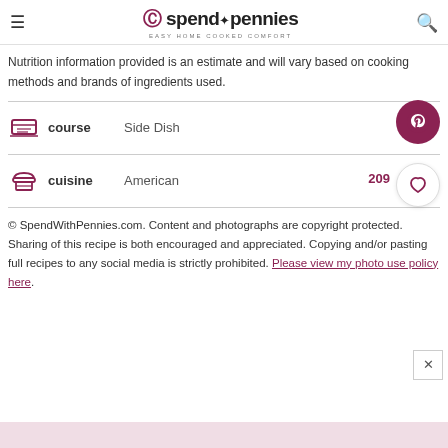spend with pennies — EASY HOME COOKED COMFORT
Nutrition information provided is an estimate and will vary based on cooking methods and brands of ingredients used.
course   Side Dish
cuisine   American
© SpendWithPennies.com. Content and photographs are copyright protected. Sharing of this recipe is both encouraged and appreciated. Copying and/or pasting full recipes to any social media is strictly prohibited. Please view my photo use policy here.